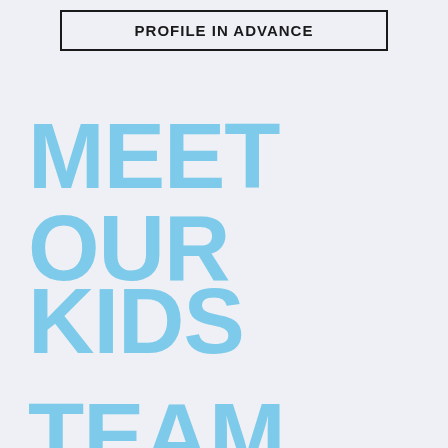PROFILE IN ADVANCE
MEET OUR
KIDS
TEAM